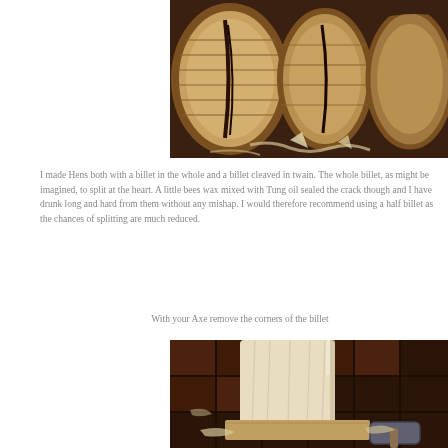[Figure (photo): A birch log being split/cleaved, showing the bark and wood grain with wood shavings around it]
I made Hens both with a billet in the whole and a billet cleaved in twain. The whole billet, as might be imagined, to split at the heart. A little bees wax mixed with Tung oil sealed the crack though and I have drunk long and hard from them without any mishap. I would therefore recommend using a half billet as the chances of splitting are much reduced.
With your Axe remove the corners of the billet
[Figure (photo): A wooden billet being shaped with an axe on a workbench, showing the pale wood plank with wood shavings and tools nearby]